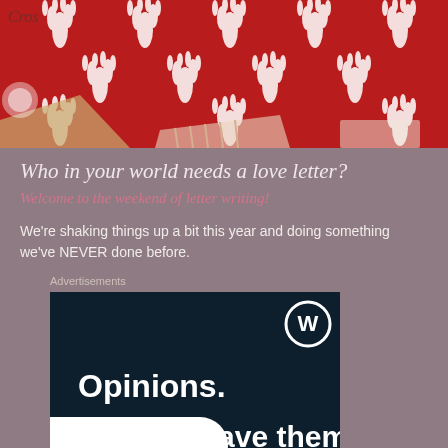[Figure (photo): Photo of red fabric/wrapping paper with white reindeer antler pattern, overlapping pieces including kraft paper and striped paper.]
Who in your world needs a love letter?
Welcome to the weekend of letter writing!
We're shaking things up a bit this year and doing something we've NEVER done before.
[Figure (screenshot): WordPress advertisement with dark navy background showing WordPress logo (W in circle) in top right, text 'Opinions.' and 'all have them!' in bold white, with a white pill-shaped overlay partially covering the bottom left.]
Advertisements